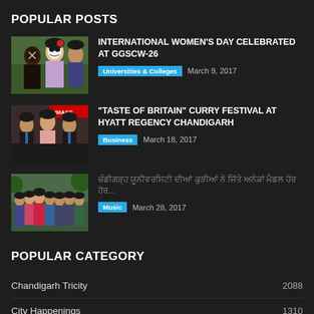POPULAR POSTS
[Figure (photo): Two women with face paint, one with black and white skull makeup]
INTERNATIONAL WOMEN'S DAY CELEBRATED AT GGSCW-26
Universities & Colleges   March 9, 2017
[Figure (photo): People in formal attire at an event, man in suit speaking]
"TASTE OF BRITAIN" CURRY FESTIVAL AT HYATT REGENCY CHANDIGARH
Business   March 18, 2017
[Figure (photo): Group of people standing together outdoors]
ਚੰਡੀਗੜ੍ਹ ਯੂਨੀਵਰਸਿਟੀ ਦੀਆਂ ਕੁੜੀਆਂ ਨੇ ਜਿੱਤੇ ਅਨੇਕਾਂ ਮੈਡਲ ਹੋਰ ਹੋਰ...
Music   March 28, 2017
POPULAR CATEGORY
Chandigarh Tricity   2088
City Happenings   1310